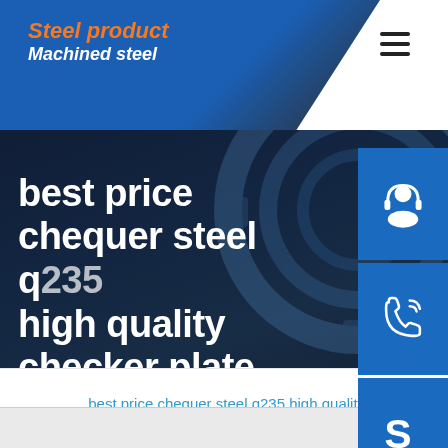Steel product
Machined steel
best price chequer steel q235 high quality checker plate
[Figure (screenshot): Website screenshot showing navigation header with blue logo area containing 'Steel product' in orange italic and 'Machined steel' in white italic, hamburger menu icon, hero section with dark blue background and industrial gear imagery, large white title text, and three blue side buttons with headset, phone, and Skype icons]
Home / best price chequer steel q235 high quality checker plate